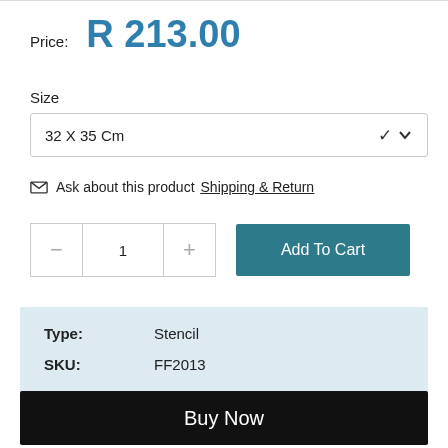Price:  R 213.00
Size
32 X 35 Cm
Ask about this product Shipping & Return
1
Add To Cart
| Type: | Stencil |
| --- | --- |
| SKU: | FF2013 |
Buy Now